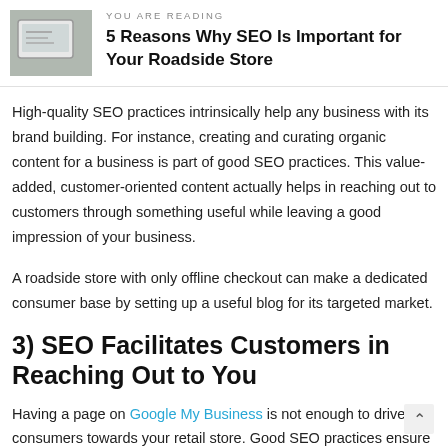YOU ARE READING
5 Reasons Why SEO Is Important for Your Roadside Store
High-quality SEO practices intrinsically help any business with its brand building. For instance, creating and curating organic content for a business is part of good SEO practices. This value-added, customer-oriented content actually helps in reaching out to customers through something useful while leaving a good impression of your business.
A roadside store with only offline checkout can make a dedicated consumer base by setting up a useful blog for its targeted market.
3) SEO Facilitates Customers in Reaching Out to You
Having a page on Google My Business is not enough to drive consumers towards your retail store. Good SEO practices ensure